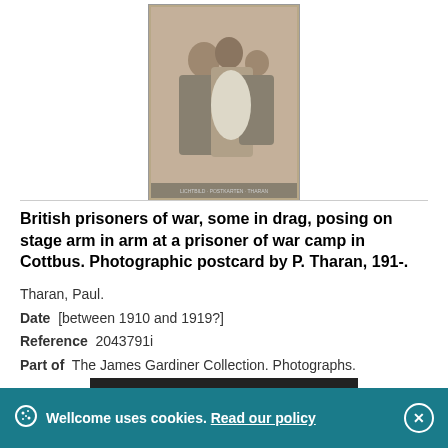[Figure (photo): Sepia-toned historical photograph showing British prisoners of war, some in drag, posing on stage arm in arm at a prisoner of war camp in Cottbus. Photographic postcard by P. Tharan.]
British prisoners of war, some in drag, posing on stage arm in arm at a prisoner of war camp in Cottbus. Photographic postcard by P. Tharan, 191-.
Tharan, Paul.
Date  [between 1910 and 1919?]
Reference  2043791i
Part of  The James Gardiner Collection. Photographs.
Pictures  Online
Wellcome uses cookies. Read our policy